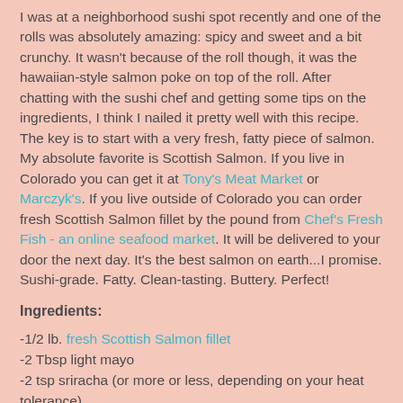I was at a neighborhood sushi spot recently and one of the rolls was absolutely amazing: spicy and sweet and a bit crunchy. It wasn't because of the roll though, it was the hawaiian-style salmon poke on top of the roll. After chatting with the sushi chef and getting some tips on the ingredients, I think I nailed it pretty well with this recipe. The key is to start with a very fresh, fatty piece of salmon. My absolute favorite is Scottish Salmon. If you live in Colorado you can get it at Tony's Meat Market or Marczyk's. If you live outside of Colorado you can order fresh Scottish Salmon fillet by the pound from Chef's Fresh Fish - an online seafood market. It will be delivered to your door the next day. It's the best salmon on earth...I promise. Sushi-grade. Fatty. Clean-tasting. Buttery. Perfect!
Ingredients:
-1/2 lb. fresh Scottish Salmon fillet
-2 Tbsp light mayo
-2 tsp sriracha (or more or less, depending on your heat tolerance)
-2 Tbsp unagi / eel sauce
-1 Tbsp...